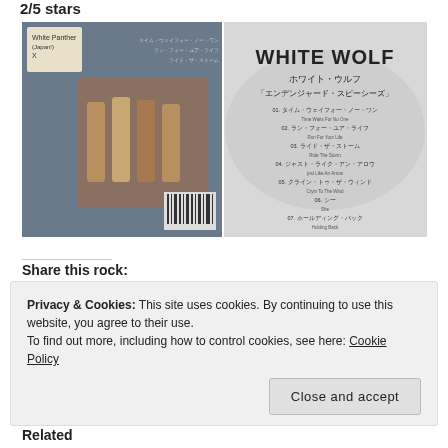2/5 stars
[Figure (photo): Two photos of White Wolf album 'Endangered Species' Japanese edition - back cover with band photo on left, front cover with Japanese text and tracklist on right]
Share this rock:
[Figure (infographic): Social share buttons: Facebook, Twitter, Email icons and More button]
Privacy & Cookies: This site uses cookies. By continuing to use this website, you agree to their use.
To find out more, including how to control cookies, see here: Cookie Policy
Close and accept
Related